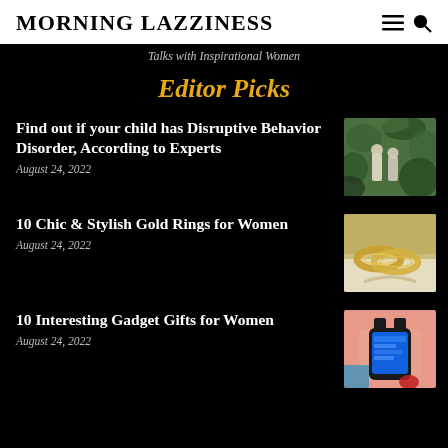MORNING LAZZINESS
Talks with Inspirational Women
Editor Picks
Find out if your child has Disruptive Behavior Disorder, According to Experts
August 24, 2022
[Figure (photo): Two children standing in a garden among green plants and trees]
10 Chic & Stylish Gold Rings for Women
August 24, 2022
[Figure (photo): Gold rings arranged on a light surface with ribbon]
10 Interesting Gadget Gifts for Women
August 24, 2022
[Figure (photo): Woman's hand with red nail polish using a smartwatch with blue screen]